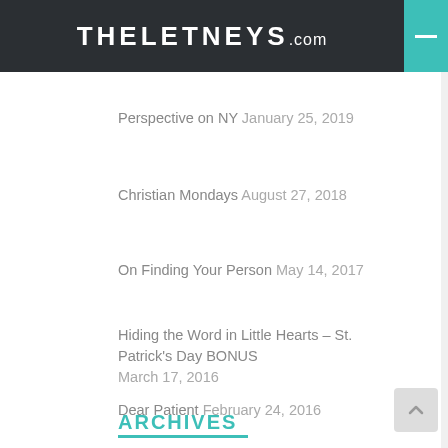THELETNEYS.com
Perspective on NY January 25, 2019
Christian Mondays August 27, 2018
On Finding Your Person May 14, 2017
Hiding the Word in Little Hearts – St. Patrick's Day BONUS March 17, 2016
Dear Patient February 24, 2016
ARCHIVES